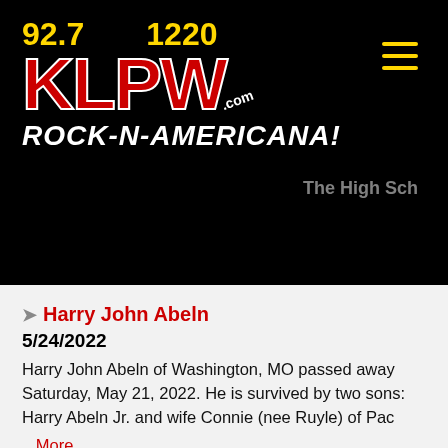[Figure (logo): KLPW radio station logo with frequencies 92.7 and 1220, red KLPW text with white stroke, .com label, and tagline ROCK-N-AMERICANA! in white on black background]
The High Sch
Harry John Abeln
5/24/2022
Harry John Abeln of Washington, MO passed away Saturday, May 21, 2022. He is survived by two sons: Harry Abeln Jr. and wife Connie (nee Ruyle) of Pac
...More